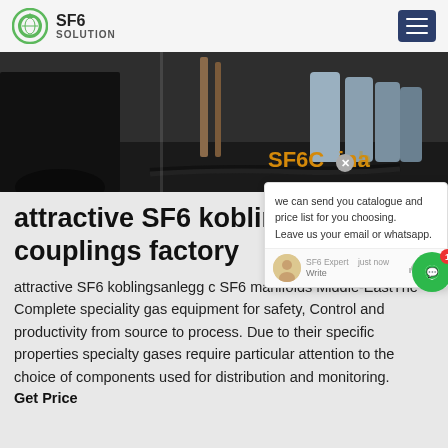SF6 SOLUTION
[Figure (photo): Industrial/workshop scene showing equipment, hoses and cylinders on a dark floor with SF6China text overlay]
attractive SF6 kobling couplings factory
attractive SF6 koblingsanlegg couplings SF6 manifolds Middle-EastThe Complete speciality gas equipment for safety, Control and productivity from source to process. Due to their specific properties specialty gases require particular attention to the choice of components used for distribution and monitoring.
Get Price